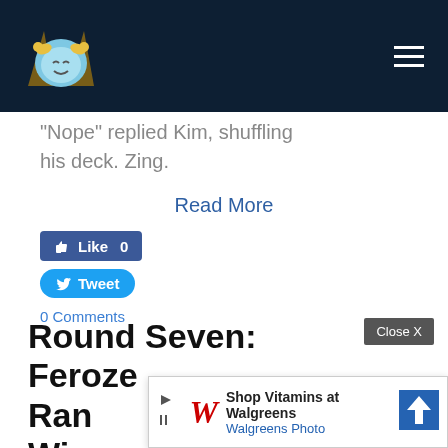[Logo: blue ram mascot with cards] [Hamburger menu icon]
“Nope” replied Kim, shuffling his deck. Zing.
Read More
[Figure (other): Facebook Like button showing count 0]
[Figure (other): Twitter Tweet button]
0 Comments
Round Seven: Feroze Ran... Wi...
[Figure (other): Walgreens advertisement banner: Shop Vitamins at Walgreens / Walgreens Photo with blue directional arrow icon and Close X button]